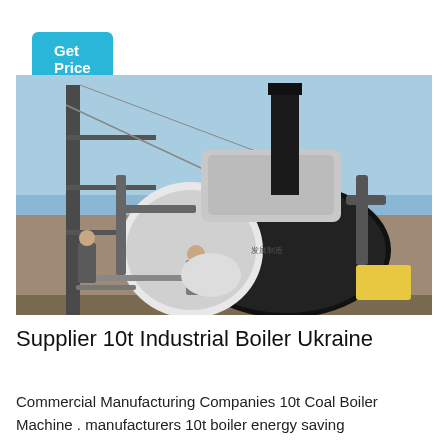Get Price
[Figure (photo): Large industrial boiler installed outdoors at a construction or industrial site. A tall black chimney stack rises from the top of the white and black cylindrical boiler. Metal pipes and scaffolding are visible on the left. Workers are standing near the base of the boiler. The background shows a brick wall and a clear blue sky.]
Supplier 10t Industrial Boiler Ukraine
Commercial Manufacturing Companies 10t Coal Boiler Machine . manufacturers 10t boiler energy saving